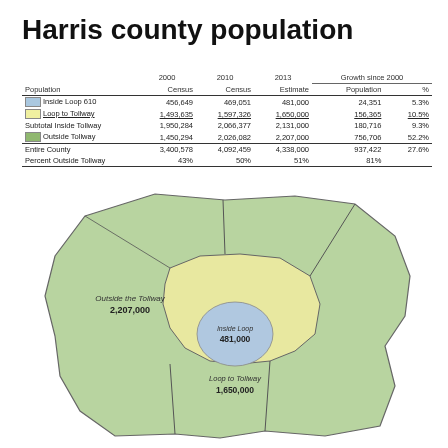Harris county population
| Population | 2000 Census | 2010 Census | 2013 Estimate | Growth since 2000 Population | Growth since 2000 % |
| --- | --- | --- | --- | --- | --- |
| Inside Loop 610 | 456,649 | 469,051 | 481,000 | 24,351 | 5.3% |
| Loop to Tollway | 1,493,635 | 1,597,326 | 1,650,000 | 156,365 | 10.5% |
| Subtotal Inside Tollway | 1,950,284 | 2,066,377 | 2,131,000 | 180,716 | 9.3% |
| Outside Tollway | 1,450,294 | 2,026,082 | 2,207,000 | 756,706 | 52.2% |
| Entire County | 3,400,578 | 4,092,459 | 4,338,000 | 937,422 | 27.6% |
| Percent Outside Tollway | 43% | 50% | 51% | 81% |  |
[Figure (map): Map of Harris County showing three zones: Outside the Tollway (green, 2,207,000), Loop to Tollway (yellow, 1,650,000), and Inside Loop (blue, 481,000)]